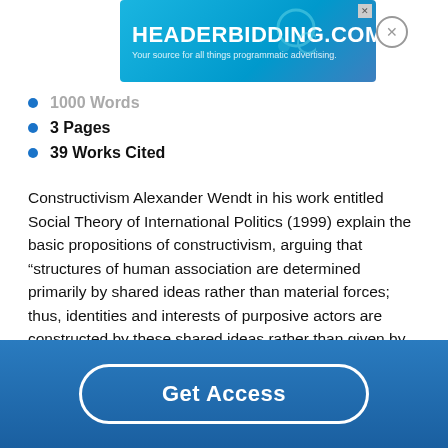[Figure (other): Advertisement banner for HeaderBidding.com with teal/blue gradient background. Text reads: HEADERBIDDING.COM — Your source for all things programmatic advertising.]
1000 Words
3 Pages
39 Works Cited
Constructivism Alexander Wendt in his work entitled Social Theory of International Politics (1999) explain the basic propositions of constructivism, arguing that “structures of human association are determined primarily by shared ideas rather than material forces; thus, identities and interests of purposive actors are constructed by these shared ideas rather than given by nature” (Palan, 2000, p. 576). As such, these shared ideas construct identities and
Get Access